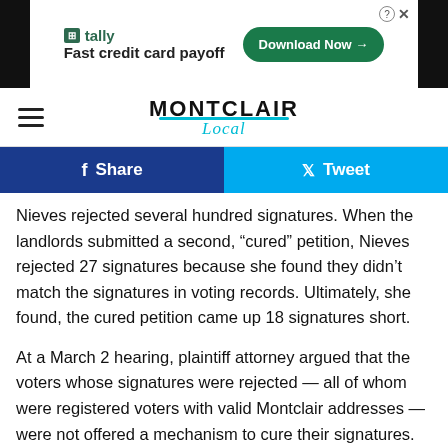[Figure (other): Advertisement banner for Tally – Fast credit card payoff with Download Now button]
MONTCLAIR Local
[Figure (other): Facebook Share and Twitter Tweet buttons row]
Nieves rejected several hundred signatures. When the landlords submitted a second, “cured” petition, Nieves rejected 27 signatures because she found they didn’t match the signatures in voting records. Ultimately, she found, the cured petition came up 18 signatures short.
At a March 2 hearing, plaintiff attorney argued that the voters whose signatures were rejected — all of whom were registered voters with valid Montclair addresses — were not offered a mechanism to cure their signatures. New Jersey allowed for the first time last May, the curing of signatures due to mail-in only elections.